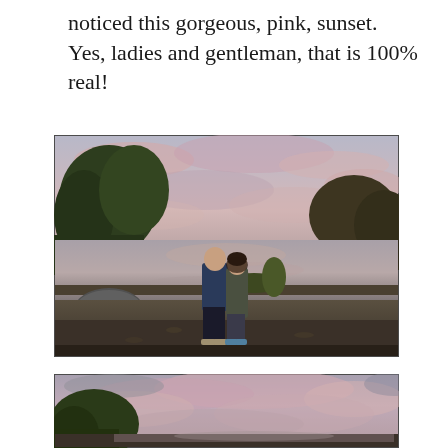noticed this gorgeous, pink, sunset. Yes, ladies and gentleman, that is 100% real!
[Figure (photo): A couple standing together in front of a lake with a pink sunset sky reflecting on the water. Trees with autumn foliage on both sides. The man wears a blue jacket and the woman wears an olive/grey coat.]
[Figure (photo): Partial view of the same lake scene with pink sunset clouds visible in the sky, trees on the left, showing only the top portion of the scene.]